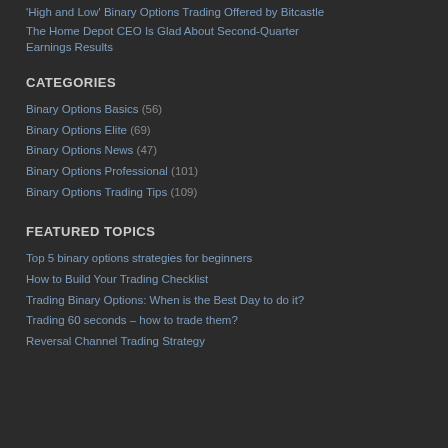'High and Low' Binary Options Trading Offered by Bitcastle
The Home Depot CEO Is Glad About Second-Quarter Earnings Results
CATEGORIES
Binary Options Basics (56)
Binary Options Elite (69)
Binary Options News (47)
Binary Options Professional (101)
Binary Options Trading Tips (109)
FEATURED TOPICS
Top 5 binary options strategies for beginners
How to Build Your Trading Checklist
Trading Binary Options: When is the Best Day to do it?
Trading 60 seconds – how to trade them?
Reversal Channel Trading Strategy